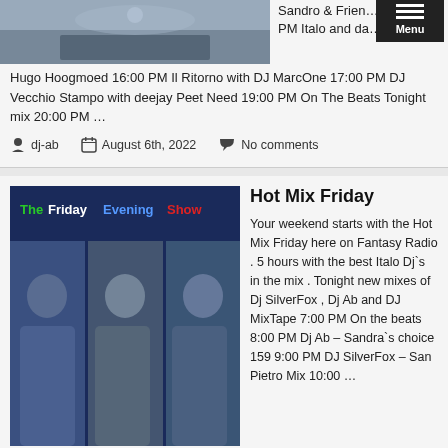[Figure (photo): Photo of a DJ at equipment/console]
Sandro & Frien... PM Italo and da...
Hugo Hoogmoed 16:00 PM Il Ritorno with DJ MarcOne 17:00 PM DJ Vecchio Stampo with deejay Peet Need 19:00 PM On The Beats Tonight mix 20:00 PM ...
dj-ab   August 6th, 2022   No comments
[Figure (photo): The Friday Evening Show promotional image with DJ photos]
Hot Mix Friday
Your weekend starts with the Hot Mix Friday here on Fantasy Radio . 5 hours with the best Italo Dj`s in the mix . Tonight new mixes of Dj SilverFox , Dj Ab and DJ MixTape 7:00 PM On the beats 8:00 PM Dj Ab – Sandra`s choice 159 9:00 PM DJ SilverFox – San Pietro Mix 10:00 ...
dj-ab   August 5th, 2022   No comments